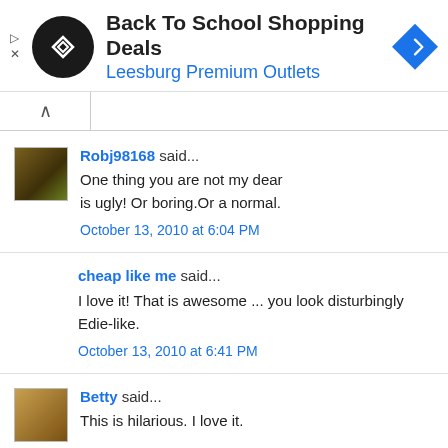[Figure (screenshot): Advertisement banner for Back To School Shopping Deals at Leesburg Premium Outlets, with circular logo, text, and blue diamond navigation icon]
Robj98168 said...
One thing you are not my dear is ugly! Or boring.Or a normal.
October 13, 2010 at 6:04 PM
cheap like me said...
I love it! That is awesome ... you look disturbingly Edie-like.
October 13, 2010 at 6:41 PM
Betty said...
This is hilarious. I love it.